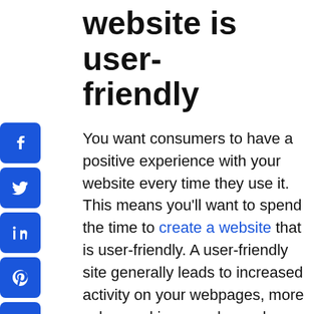website is user-friendly
You want consumers to have a positive experience with your website every time they use it. This means you'll want to spend the time to create a website that is user-friendly. A user-friendly site generally leads to increased activity on your webpages, more sales, and improved search engine optimization (SEO) for better visibility
Key features for a user-friendly website are:
A simple journey – Ideally, you don't